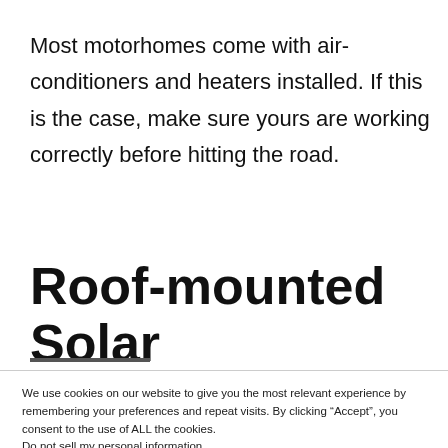Most motorhomes come with air-conditioners and heaters installed. If this is the case, make sure yours are working correctly before hitting the road.
Roof-mounted Solar
We use cookies on our website to give you the most relevant experience by remembering your preferences and repeat visits. By clicking “Accept”, you consent to the use of ALL the cookies. Do not sell my personal information.